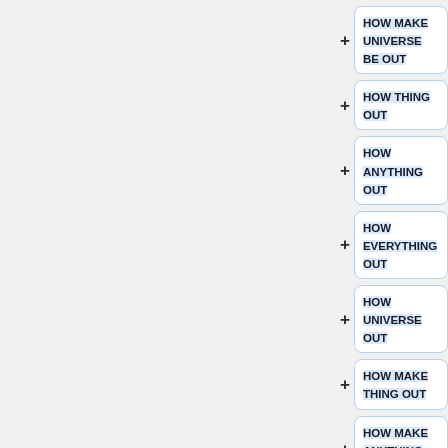HOW MAKE UNIVERSE BE OUT
HOW THING OUT
HOW ANYTHING OUT
HOW EVERYTHING OUT
HOW UNIVERSE OUT
HOW MAKE THING OUT
HOW MAKE ANYTHING OUT
HOW MAKE